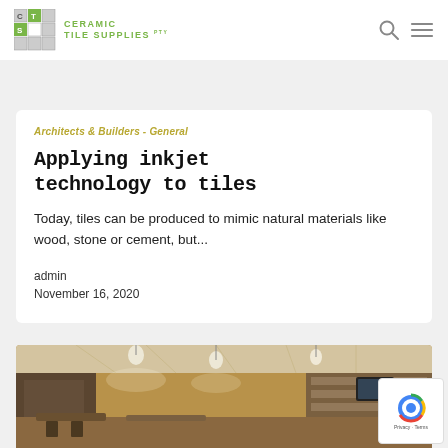Ceramic Tile Supplies Pty Ltd
Architects & Builders - General
Applying inkjet technology to tiles
Today, tiles can be produced to mimic natural materials like wood, stone or cement, but...
admin
November 16, 2020
[Figure (photo): Interior of an upscale bar/restaurant with hanging pendant lights, wooden furniture, and bar shelving in the background]